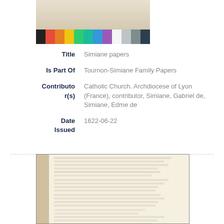[Figure (photo): Photograph of a document with color calibration swatches at the bottom on a black background]
Title	Simiane papers
Is Part Of	Tournon-Simiane Family Papers
Contributor(s)	Catholic Church. Archdiocese of Lyon (France), contributor, Simiane, Gabriel de, Simiane, Edme de
Date Issued	1622-06-22
[Figure (photo): Photograph of an open handwritten manuscript book with old cursive text in French or Latin, with a ruler on the left side]